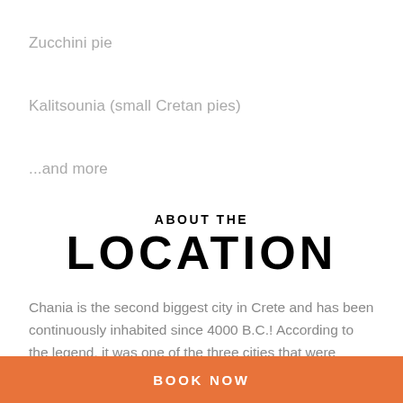Zucchini pie
Kalitsounia (small Cretan pies)
...and more
ABOUT THE
LOCATION
Chania is the second biggest city in Crete and has been continuously inhabited since 4000 B.C.! According to the legend, it was one of the three cities that were founded...
BOOK NOW